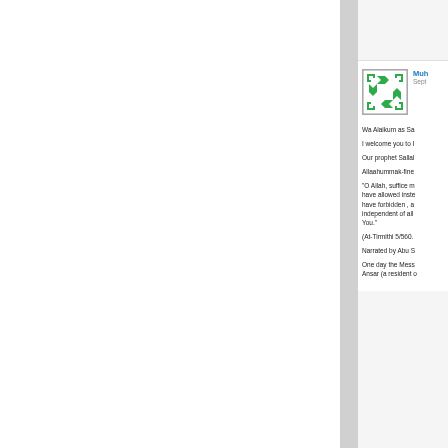[Figure (illustration): Green geometric pattern avatar/icon with arrow-like shapes arranged in a square border pattern]
Mu[hammad] Sept[ember...]
Wa Alaikum as Sa[lam...]
I welcome you to I[slam...]
Our prophet Sallal[lahu...]
Allaahummak-fine[...]
"O Allah, suffice m[e with what You have allowed inste[ad of what You have forbidden , a[nd make me independent of all[ other than You."
(At-Tirmithi 5/560.[...]
Narrated by Abu S[a'id...]
One day the Mess[enger...] Ansar (a resident o[f...]